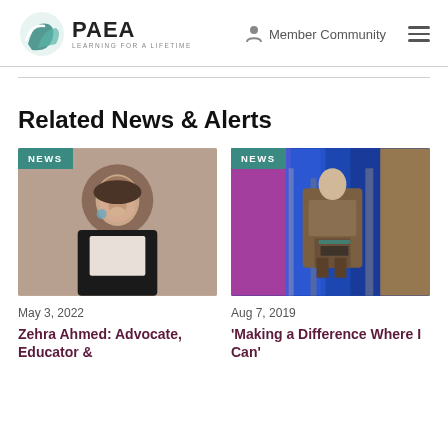PAEA LEARNING FOR A LIFETIME | Member Community
Related News & Alerts
[Figure (photo): Portrait photo of Zehra Ahmed, a woman smiling, wearing a black jacket, with a NEWS badge overlay]
May 3, 2022
Zehra Ahmed: Advocate, Educator &
[Figure (photo): Photo of a man in a suit holding an award on a colorful stage with flags, with a NEWS badge overlay]
Aug 7, 2019
'Making a Difference Where I Can'